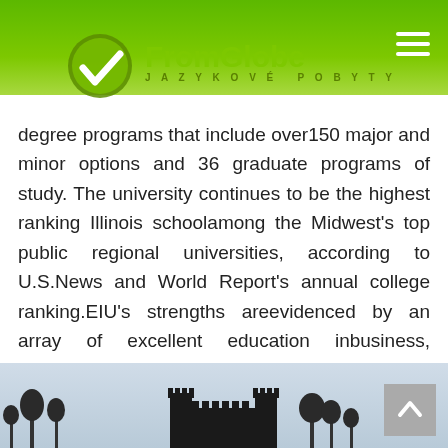[Figure (logo): FromGlobe logo with green globe icon and site name, with JAZYKOVÉ POBYTY tagline]
degree programs that include over150 major and minor options and 36 graduate programs of study. The university continues to be the highest ranking Illinois schoolamong the Midwest's top public regional universities, according to U.S.News and World Report's annual college ranking.EIU's strengths areevidenced by an array of excellent education inbusiness, technology,engineering, arts and sciences programs. The University's more than 8,000 students and over 270 international students come from 46 nations
[Figure (photo): Castle or university building silhouette against a light blue sky, bottom of page]